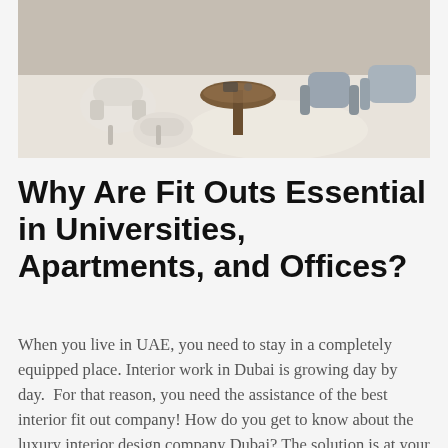[Figure (photo): Interior photo of a modern lounge or office space with white and cream upholstered chairs, a round wooden table, and gray accent chairs on a light marble floor.]
Why Are Fit Outs Essential in Universities, Apartments, and Offices?
When you live in UAE, you need to stay in a completely equipped place. Interior work in Dubai is growing day by day. For that reason, you need the assistance of the best interior fit out company! How do you get to know about the luxury interior design company Dubai? The solution is at your door! You don't need to locate it! How? Due to many commercial fit out work demands, many companies provide